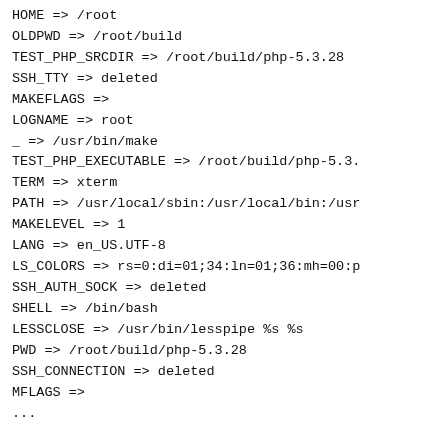HOME => /root
OLDPWD => /root/build
TEST_PHP_SRCDIR => /root/build/php-5.3.28
SSH_TTY => deleted
MAKEFLAGS =>
LOGNAME => root
_ => /usr/bin/make
TEST_PHP_EXECUTABLE => /root/build/php-5.3.
TERM => xterm
PATH => /usr/local/sbin:/usr/local/bin:/usr
MAKELEVEL => 1
LANG => en_US.UTF-8
LS_COLORS => rs=0:di=01;34:ln=01;36:mh=00:p
SSH_AUTH_SOCK => deleted
SHELL => /bin/bash
LESSCLOSE => /usr/bin/lesspipe %s %s
PWD => /root/build/php-5.3.28
SSH_CONNECTION => deleted
MFLAGS =>
...